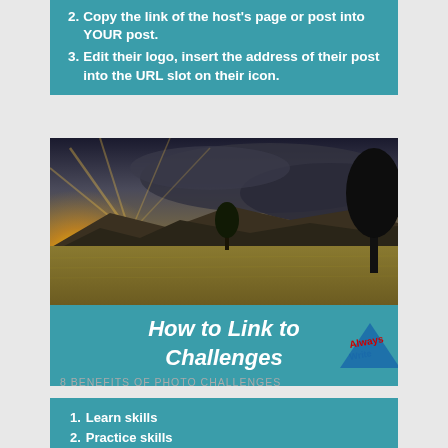2. Copy the link of the host's page or post into YOUR post.
3. Edit their logo, insert the address of their post into the URL slot on their icon.
[Figure (photo): Landscape photo of a wheat field at sunset with mountains in the background and a tree silhouette on the right, dramatic cloudy sky]
How to Link to Challenges
[Figure (logo): Always Write logo — blue triangle with red and blue text]
8 BENEFITS OF PHOTO CHALLENGES
1. Learn skills
2. Practice skills
3. Meet people
4. Develop friendships and communities of friends